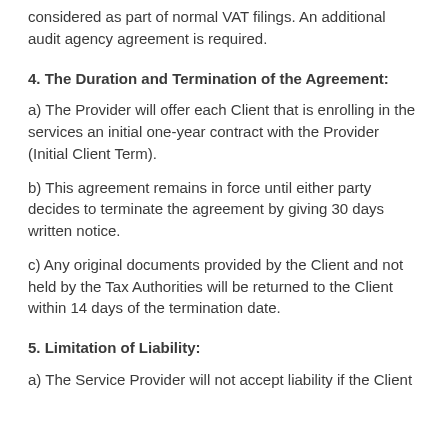considered as part of normal VAT filings. An additional audit agency agreement is required.
4. The Duration and Termination of the Agreement:
a) The Provider will offer each Client that is enrolling in the services an initial one-year contract with the Provider (Initial Client Term).
b) This agreement remains in force until either party decides to terminate the agreement by giving 30 days written notice.
c) Any original documents provided by the Client and not held by the Tax Authorities will be returned to the Client within 14 days of the termination date.
5. Limitation of Liability:
a) The Service Provider will not accept liability if the Client